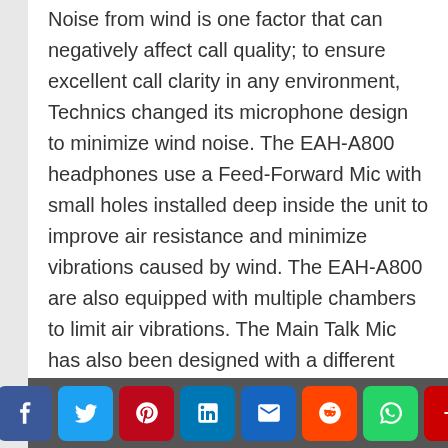Noise from wind is one factor that can negatively affect call quality; to ensure excellent call clarity in any environment, Technics changed its microphone design to minimize wind noise. The EAH-A800 headphones use a Feed-Forward Mic with small holes installed deep inside the unit to improve air resistance and minimize vibrations caused by wind. The EAH-A800 are also equipped with multiple chambers to limit air vibrations. The Main Talk Mic has also been designed with a different mesh material at the front and back to control vibrations, while the windshield on the Sub Talk Mic has a top cover to prevent direct wind exposure.
[Figure (infographic): Social media share buttons: Facebook, Twitter, Pinterest, LinkedIn, Email, Reddit, WhatsApp, More]